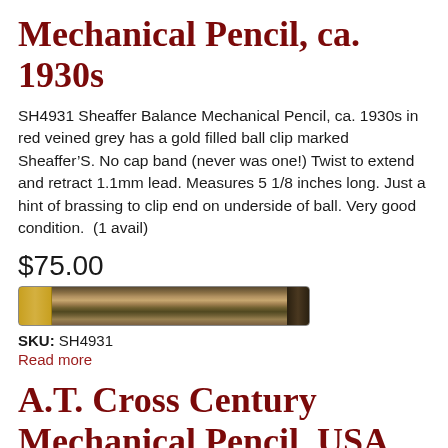Mechanical Pencil, ca. 1930s
SH4931 Sheaffer Balance Mechanical Pencil, ca. 1930s in red veined grey has a gold filled ball clip marked Sheaffer’S. No cap band (never was one!) Twist to extend and retract 1.1mm lead. Measures 5 1/8 inches long. Just a hint of brassing to clip end on underside of ball. Very good condition.  (1 avail)
$75.00
[Figure (photo): Photo of a Sheaffer Balance mechanical pencil with gold-colored clip and dark marbled body]
SKU: SH4931
Read more
A.T. Cross Century Mechanical Pencil, USA